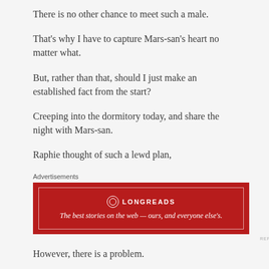There is no other chance to meet such a male.
That’s why I have to capture Mars-san’s heart no matter what.
But, rather than that, should I just make an established fact from the start?
Creeping into the dormitory today, and share the night with Mars-san.
Raphie thought of such a lewd plan,
[Figure (other): Longreads advertisement banner: dark red background with white border, Longreads logo and tagline 'The best stories on the web — ours, and everyone else's.']
However, there is a problem.
(Elisha-san is his roommate, right….)